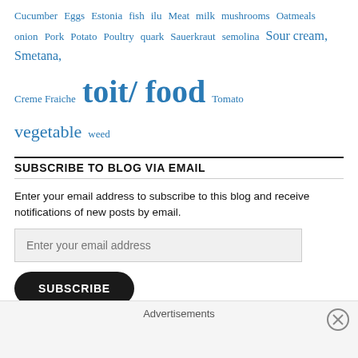Cucumber Eggs Estonia fish ilu Meat milk mushrooms Oatmeals onion Pork Potato Poultry quark Sauerkraut semolina Sour cream, Smetana, Creme Fraiche toit/ food Tomato vegetable weed
SUBSCRIBE TO BLOG VIA EMAIL
Enter your email address to subscribe to this blog and receive notifications of new posts by email.
Enter your email address
SUBSCRIBE
Advertisements